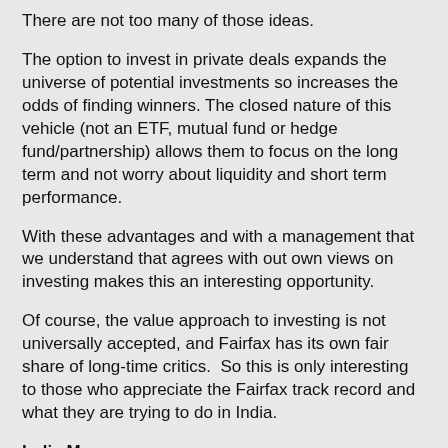There are not too many of those ideas.
The option to invest in private deals expands the universe of potential investments so increases the odds of finding winners. The closed nature of this vehicle (not an ETF, mutual fund or hedge fund/partnership) allows them to focus on the long term and not worry about liquidity and short term performance.
With these advantages and with a management that we understand that agrees with out own views on investing makes this an interesting opportunity.
Of course, the value approach to investing is not universally accepted, and Fairfax has its own fair share of long-time critics.  So this is only interesting to those who appreciate the Fairfax track record and what they are trying to do in India.
India Macro
Here are some charts from the FFXDF marketing slides from a couple of years ago. You can get all of this at the SEDAR website: